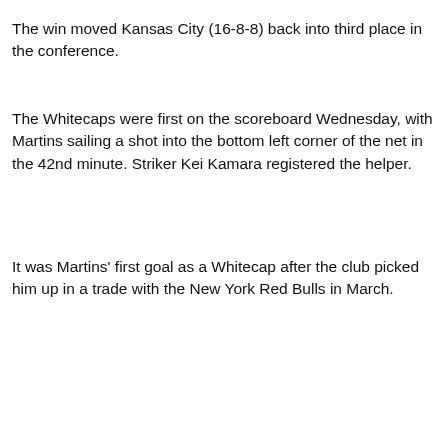The win moved Kansas City (16-8-8) back into third place in the conference.
The Whitecaps were first on the scoreboard Wednesday, with Martins sailing a shot into the bottom left corner of the net in the 42nd minute. Striker Kei Kamara registered the helper.
It was Martins' first goal as a Whitecap after the club picked him up in a trade with the New York Red Bulls in March.
[Figure (infographic): Advertisement banner: 'Love Keremeos Okanagan Falls' in large red bold text, with a Save-On Foods 'Saver days' promotional banner below featuring a red background with yellow circle logo, SHOP NOW button, and save on foods branding on yellow background. A dark grey circular back-to-top arrow button overlaps the top-right corner.]